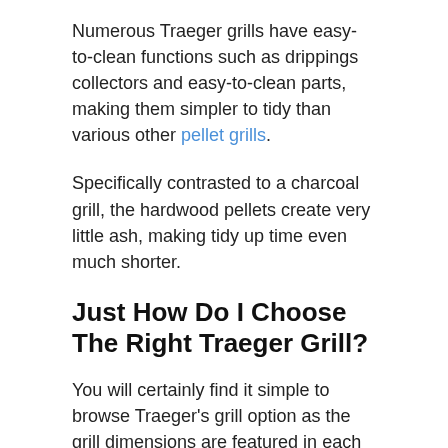Numerous Traeger grills have easy-to-clean functions such as drippings collectors and easy-to-clean parts, making them simpler to tidy than various other pellet grills.
Specifically contrasted to a charcoal grill, the hardwood pellets create very little ash, making tidy up time even much shorter.
Just How Do I Choose The Right Traeger Grill?
You will certainly find it simple to browse Traeger's grill option as the grill dimensions are featured in each grill's name.
Inches are constantly depicted after the grill model, indicating how huge the cooking spot is